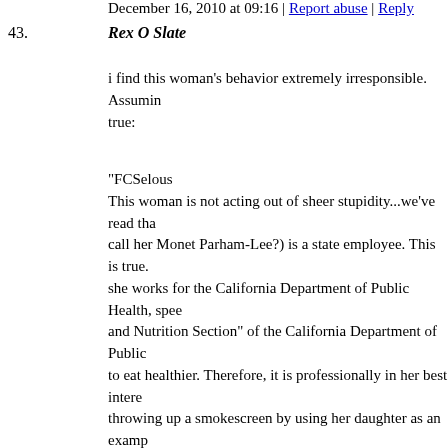December 16, 2010 at 09:16 | Report abuse | Reply
43. Rex O Slate
i find this woman's behavior extremely irresponsible. Assuming true:

"FCSelous
This woman is not acting out of sheer stupidity...we've read that call her Monet Parham-Lee?) is a state employee. This is true. she works for the California Department of Public Health, spec and Nutrition Section" of the California Department of Public to eat healthier. Therefore, it is professionally in her best intere throwing up a smokescreen by using her daughter as an examp to do with her being too weak/stupid/bad of a parent to say no.

Any parent who will use their child for the purpose of promoti employment is the dreck of the earth. I would not like to be in point in life has come to the conclusion that her mother used h order to have a means for a covert action in her position as an s by far the greater and more evil predator of children than McD product to children using a well thought out advertising techni attack a firm using a well thought out plan of activism. Shame McDonalds aims much of its business at children and therefore proven itself as a protector and promotor of childrens' well be